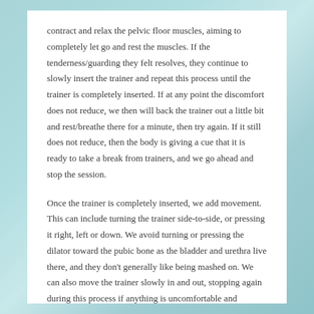contract and relax the pelvic floor muscles, aiming to completely let go and rest the muscles. If the tenderness/guarding they felt resolves, they continue to slowly insert the trainer and repeat this process until the trainer is completely inserted. If at any point the discomfort does not reduce, we then will back the trainer out a little bit and rest/breathe there for a minute, then try again. If it still does not reduce, then the body is giving a cue that it is ready to take a break from trainers, and we go ahead and stop the session.
Once the trainer is completely inserted, we add movement. This can include turning the trainer side-to-side, or pressing it right, left or down. We avoid turning or pressing the dilator toward the pubic bone as the bladder and urethra live there, and they don't generally like being mashed on. We can also move the trainer slowly in and out, stopping again during this process if anything is uncomfortable and repeating the steps above.